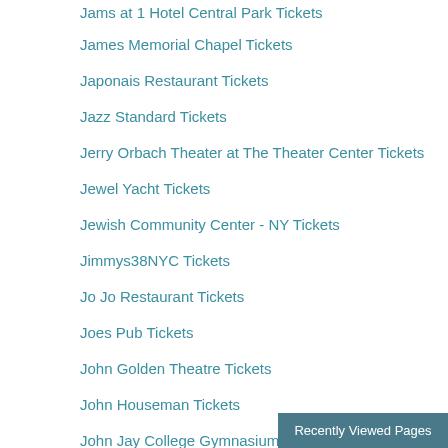Jams at 1 Hotel Central Park Tickets
James Memorial Chapel Tickets
Japonais Restaurant Tickets
Jazz Standard Tickets
Jerry Orbach Theater at The Theater Center Tickets
Jewel Yacht Tickets
Jewish Community Center - NY Tickets
Jimmys38NYC Tickets
Jo Jo Restaurant Tickets
Joes Pub Tickets
John Golden Theatre Tickets
John Houseman Tickets
John Jay College Gymnasium Tickets
John Varvatos Tickets
Josie Robertson Plaza At Lincoln Center Tickets
Joyce Theater Tickets
Recently Viewed Pages